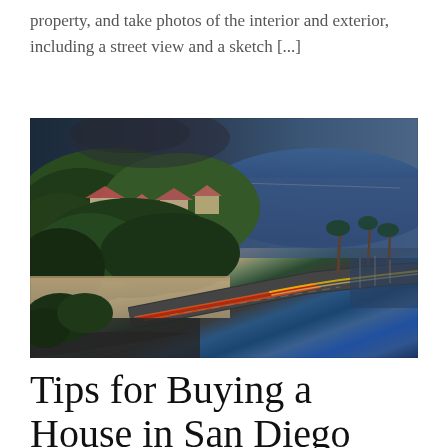property, and take photos of the interior and exterior, including a street view and a sketch [...]
[Figure (photo): Aerial/elevated night view of a coastal hillside neighborhood with houses among trees, a highway with light trails, and the ocean/bay in the background — likely San Diego, California.]
Tips for Buying a House in San Diego